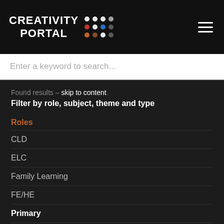[Figure (logo): Creativity Portal logo with dot grid on black background]
Enter a keyword to search...
Found results – skip to content.
Filter by role, subject, theme and type
Roles
CLD
ELC
Family Learning
FE/HE
Primary
Secondary